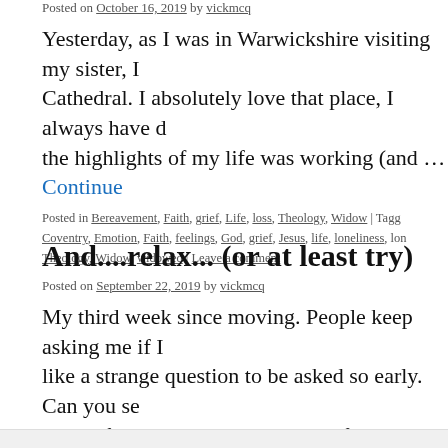Posted on October 16, 2019 by vickmcq
Yesterday, as I was in Warwickshire visiting my sister, I... Cathedral. I absolutely love that place, I always have d... the highlights of my life was working (and … Continue
Posted in Bereavement, Faith, grief, Life, loss, Theology, Widow | Tagged Coventry, Emotion, Faith, feelings, God, grief, Jesus, life, loneliness, lon... Theology, Widow, widowed | Leave a comment
And....relax... (or at least try)
Posted on September 22, 2019 by vickmcq
My third week since moving. People keep asking me if I... like a strange question to be asked so early. Can you se... away after living somewhere else for 10 years? Not …
Posted in Bereavement, Faith, grief, Humility, Life, loss | Tagged alone, loneliness, lonely, loss, pain, Widow, widowed | Leave a comment